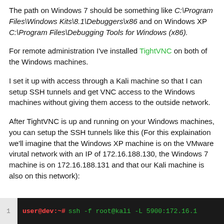The path on Windows 7 should be something like C:\Program Files\Windows Kits\8.1\Debuggers\x86 and on Windows XP C:\Program Files\Debugging Tools for Windows (x86).
For remote administration I've installed TightVNC on both of the Windows machines.
I set it up with access through a Kali machine so that I can setup SSH tunnels and get VNC access to the Windows machines without giving them access to the outside network.
After TightVNC is up and running on your Windows machines, you can setup the SSH tunnels like this (For this explaination we'll imagine that the Windows XP machine is on the VMware virutal network with an IP of 172.16.188.130, the Windows 7 machine is on 172.16.188.131 and that our Kali machine is also on this network):
[Figure (screenshot): Terminal code block showing line number 1 and command: user@dev:~# ssh -f root@kali -L 5900:172.16.1...]